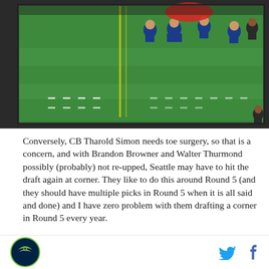[Figure (photo): A football field scene showing players in blue uniforms on a green grass field with yard lines visible. The image is partially cropped, showing a football play in progress.]
Conversely, CB Tharold Simon needs toe surgery, so that is a concern, and with Brandon Browner and Walter Thurmond possibly (probably) not re-upped, Seattle may have to hit the draft again at corner. They like to do this around Round 5 (and they should have multiple picks in Round 5 when it is all said and done) and I have zero problem with them drafting a corner in Round 5 every year.
They won't all be Richard Sherman's but you could nail